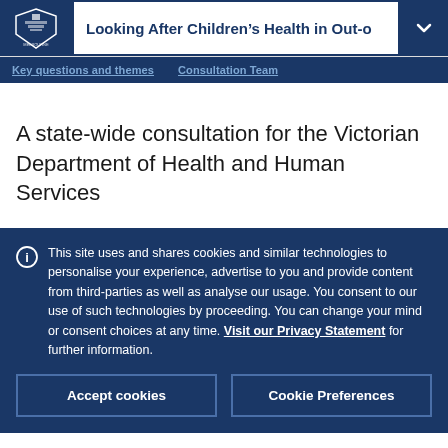Looking After Children's Health in Out-o
Key questions and themes   Consultation Team
A state-wide consultation for the Victorian Department of Health and Human Services
This site uses and shares cookies and similar technologies to personalise your experience, advertise to you and provide content from third-parties as well as analyse our usage. You consent to our use of such technologies by proceeding. You can change your mind or consent choices at any time. Visit our Privacy Statement for further information.
Accept cookies
Cookie Preferences